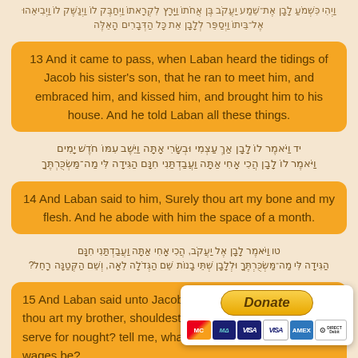Hebrew verse continuation text (top, partially cut off)
13 And it came to pass, when Laban heard the tidings of Jacob his sister's son, that he ran to meet him, and embraced him, and kissed him, and brought him to his house. And he told Laban all these things.
14 Hebrew verse text
14 And Laban said to him, Surely thou art my bone and my flesh. And he abode with him the space of a month.
15 Hebrew verse text
15 And Laban said unto Jacob... brother, shouldest thou therefore serve for nought? tell me, what shall thy wages be?
[Figure (other): Donate button with PayPal-style interface and credit card icons (Mastercard, Maestro, Visa, Visa Electron, Amex, Direct Debit)]